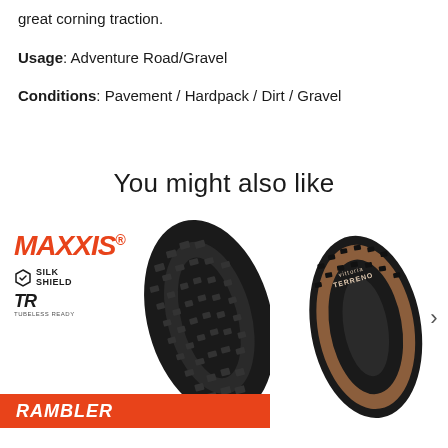great corning traction.
Usage: Adventure Road/Gravel
Conditions: Pavement / Hardpack / Dirt / Gravel
You might also like
[Figure (photo): Maxxis Rambler tire product card with orange MAXXIS logo, Silk Shield and TR badges, black knobby tire image, and orange RAMBLER banner at bottom]
[Figure (photo): Vittoria Terreno tire - brown sidewall gravel tire shown at angle]